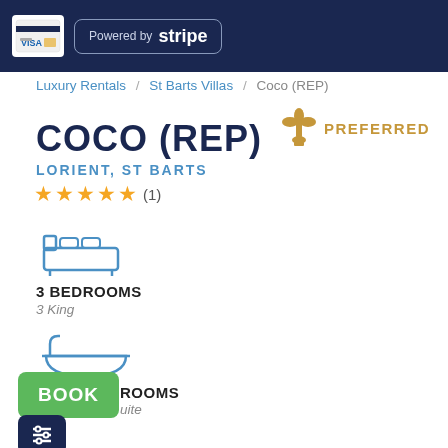[Figure (logo): Visa/credit card logo and Stripe payment badge on dark navy header bar]
Luxury Rentals / St Barts Villas / Coco (REP)
[Figure (logo): Gold fleur-de-lis PREFERRED badge]
COCO (REP)
LORIENT, ST BARTS
★★★★★ (1)
[Figure (illustration): Blue outline icon of a bed/bedroom]
3 BEDROOMS
3 King
[Figure (illustration): Blue outline icon of a bathtub]
BATHROOMS
Suite
[Figure (illustration): Green BOOK button overlay]
[Figure (illustration): Dark navy filter/funnel button]